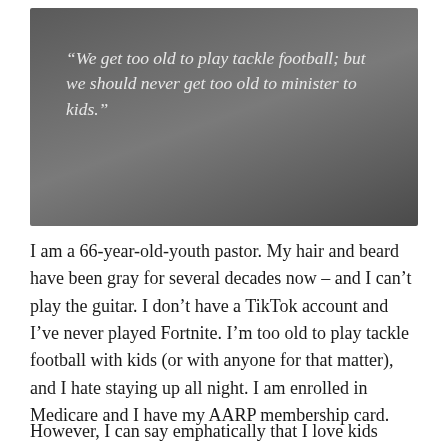[Figure (illustration): Dark gray gradient background box containing an italic white quote: “We get too old to play tackle football; but we should never get too old to minister to kids.”]
I am a 66-year-old-youth pastor. My hair and beard have been gray for several decades now – and I can’t play the guitar. I don’t have a TikTok account and I’ve never played Fortnite. I’m too old to play tackle football with kids (or with anyone for that matter), and I hate staying up all night. I am enrolled in Medicare and I have my AARP membership card.
However, I can say emphatically that I love kids and...